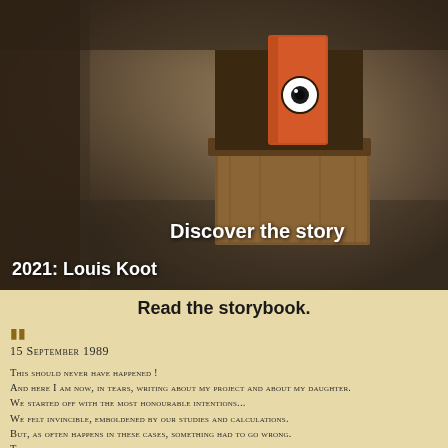[Figure (screenshot): 3D game scene showing a wooden chest/box with an orange book and eye symbol on top, dark stone floor environment. Text overlays: 'Discover the story' in white bold and '2021: Louis Koot' in white bold.]
Read the storybook.
15 September 1989
This should never have happened ! And here I am now, in tears, writing about my project and about my daughter. We started off with the most honourable intentions... We felt invincible, emboldened by our studies and calculations. But, as often happens in these cases, something had to go wrong. This time, unwittingly, we awoke the souls of the dead. Two years ago, shortly after my wife's accident, an old university pal and I brushed up on some theories. I...